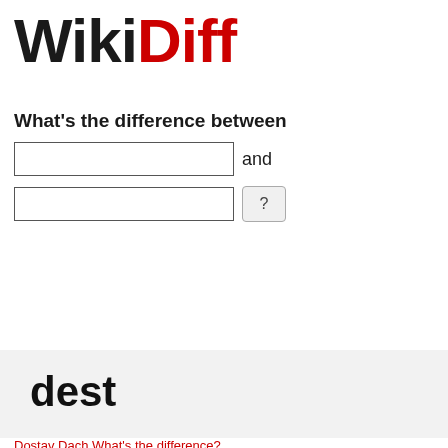[Figure (logo): WikiDiff logo with 'Wiki' in black bold and 'Diff' in red bold, large serif-style display font]
What's the difference between
[Figure (screenshot): Two text input fields with 'and' label after first field and '?' button after second field]
dest
Dostav Dach What's the difference?